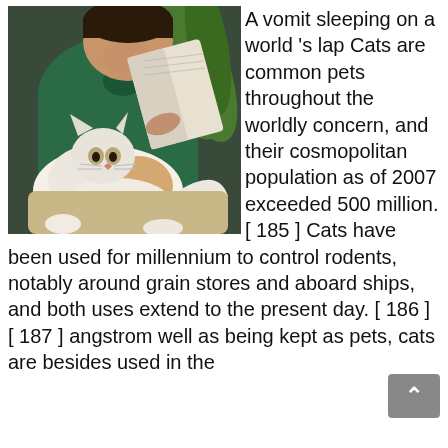[Figure (photo): A person wearing a green polo shirt reading a book with a large fluffy cat sitting on their lap. A plant is visible in the background.]
A vomit sleeping on a world 's lap Cats are common pets throughout the worldly concern, and their cosmopolitan population as of 2007 exceeded 500 million. [ 185 ] Cats have been used for millennium to control rodents, notably around grain stores and aboard ships, and both uses extend to the present day. [ 186 ] [ 187 ] angstrom well as being kept as pets, cats are besides used in the